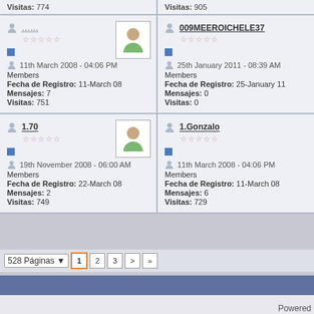| Visitas: 774 | Visitas: 905 |
| .....
11th March 2008 - 04:06 PM
Members
Fecha de Registro: 11-March 08
Mensajes: 7
Visitas: 751 | 009MEEROICHELE37
25th January 2011 - 08:39 AM
Members
Fecha de Registro: 25-January 11
Mensajes: 0
Visitas: 0 |
| 1.70
19th November 2008 - 06:00 AM
Members
Fecha de Registro: 22-March 08
Mensajes: 2
Visitas: 749 | 1.Gonzalo
11th March 2008 - 04:06 PM
Members
Fecha de Registro: 11-March 08
Mensajes: 6
Visitas: 729 |
528 Páginas  1 2 3 > »
Powered